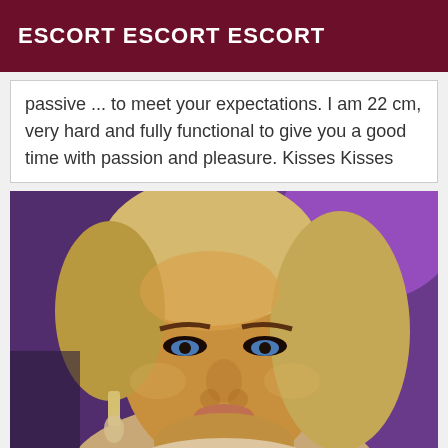ESCORT ESCORT ESCORT
passive ... to meet your expectations. I am 22 cm, very hard and fully functional to give you a good time with passion and pleasure. Kisses Kisses
[Figure (photo): Close-up portrait photo of a blonde woman with heavy makeup, dramatic eye makeup, wearing dangling earrings and a lip piercing, tanned skin, purple background lighting]